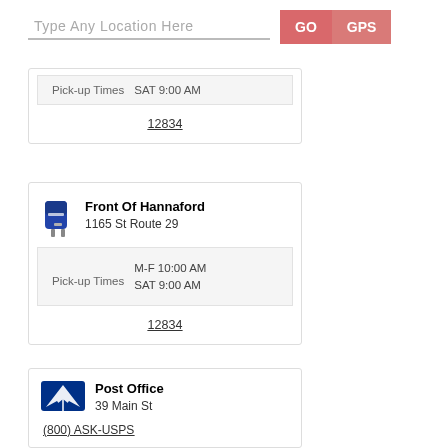[Figure (screenshot): Search bar with placeholder 'Type Any Location Here' and GO and GPS buttons]
Pick-up Times  SAT 9:00 AM
12834
Front Of Hannaford
1165 St Route 29
Pick-up Times  M-F 10:00 AM  SAT 9:00 AM
12834
Post Office
39 Main St
(800) ASK-USPS